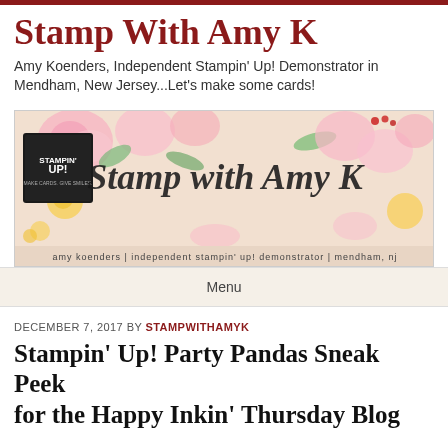Stamp With Amy K
Amy Koenders, Independent Stampin' Up! Demonstrator in Mendham, New Jersey...Let's make some cards!
[Figure (illustration): Blog banner image with colorful watercolor flowers and cursive script text reading 'Stamp with Amy K', with a Stampin' Up! logo on the left. Below the image: 'amy koenders | independent stampin' up! demonstrator | mendham, nj']
Menu
DECEMBER 7, 2017 BY STAMPWITHAMYK
Stampin' Up! Party Pandas Sneak Peek for the Happy Inkin' Thursday Blog